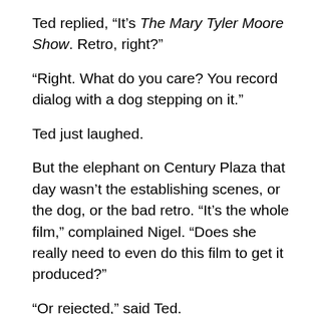Ted replied, “It’s The Mary Tyler Moore Show. Retro, right?”
“Right. What do you care? You record dialog with a dog stepping on it.”
Ted just laughed.
But the elephant on Century Plaza that day wasn’t the establishing scenes, or the dog, or the bad retro. “It’s the whole film,” complained Nigel. “Does she really need to even do this film to get it produced?”
“Or rejected,” said Ted.
“Exactly. All she needs is the script, some concept poster art, proposals for A- or B-list actor names, a budget, a business plan. Take that to a film market,